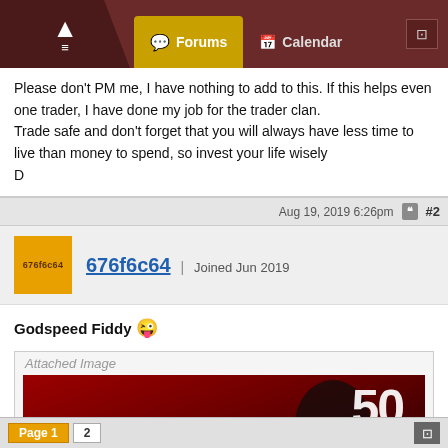Forums | Calendar
Please don't PM me, I have nothing to add to this. If this helps even one trader, I have done my job for the trader clan.
Trade safe and don't forget that you will always have less time to live than money to spend, so invest your life wisely
D
Aug 19, 2019 6:26pm  #2
676f6c64 | Joined Jun 2019
Godspeed Fiddy 😜
Attached Image
[Figure (photo): 50 Cent 'Get Rich Or Die Tryin' album cover image with red background and artist silhouette]
Page 1  2